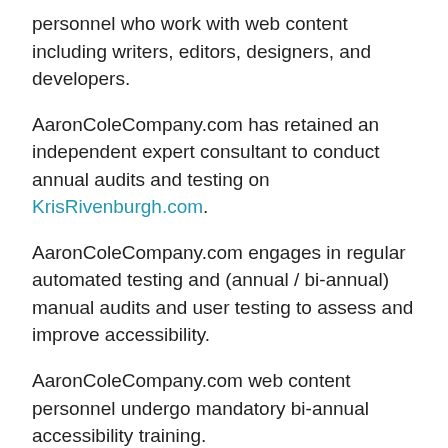personnel who work with web content including writers, editors, designers, and developers.
AaronColeCompany.com has retained an independent expert consultant to conduct annual audits and testing on KrisRivenburgh.com.
AaronColeCompany.com engages in regular automated testing and (annual / bi-annual) manual audits and user testing to assess and improve accessibility.
AaronColeCompany.com web content personnel undergo mandatory bi-annual accessibility training.
Through genuine effort and commitment including testing, audits, consulting, and remediation, we believe KrisRivenburgh.com adheres to best practices for compliance with the Americans with Disabilities Act (ADA).